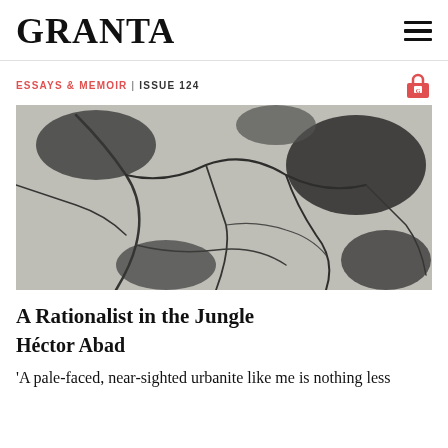GRANTA
ESSAYS & MEMOIR | ISSUE 124
[Figure (photo): Close-up photograph of cracked concrete or stone surface with dark fracture lines forming a web-like pattern across a grey, textured background.]
A Rationalist in the Jungle
Héctor Abad
'A pale-faced, near-sighted urbanite like me is nothing less